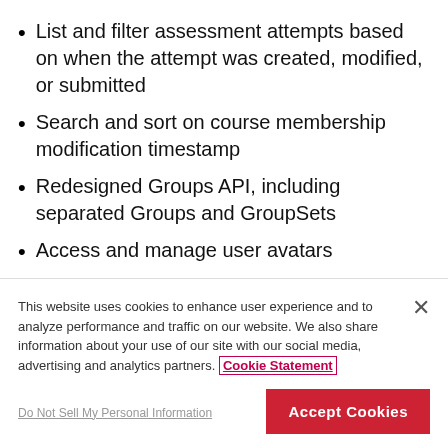List and filter assessment attempts based on when the attempt was created, modified, or submitted
Search and sort on course membership modification timestamp
Redesigned Groups API, including separated Groups and GroupSets
Access and manage user avatars
Institutional Hierarchy management and
This website uses cookies to enhance user experience and to analyze performance and traffic on our website. We also share information about your use of our site with our social media, advertising and analytics partners. Cookie Statement
Do Not Sell My Personal Information
Accept Cookies